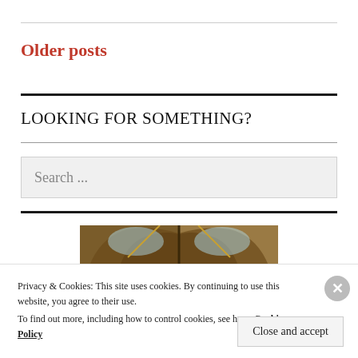Older posts
LOOKING FOR SOMETHING?
Search ...
[Figure (photo): Photograph of a church interior showing arched ceiling with wooden beams and gothic architectural details]
Privacy & Cookies: This site uses cookies. By continuing to use this website, you agree to their use.
To find out more, including how to control cookies, see here: Cookie Policy